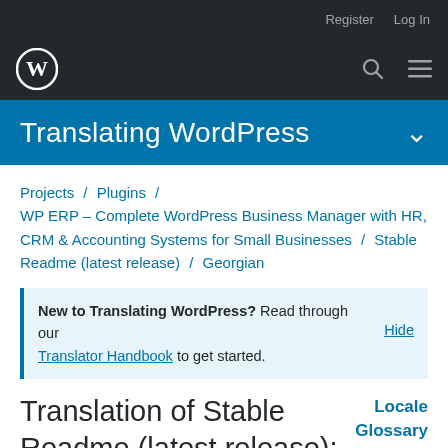Register  Log In
[Figure (logo): WordPress logo (W in circle) on dark background navigation bar with search and menu icons]
Translating WordPress
Projects / Plugins / WP ERP – Complete WordPress Business Manager with HR, CRM & Accounting Systems for Small Businesses / Stable Readme (latest release) / Georgian
New to Translating WordPress? Read through our Translator Handbook to get started.  Hide
Translation of Stable Readme (latest release): Georgian
Locale Glossary